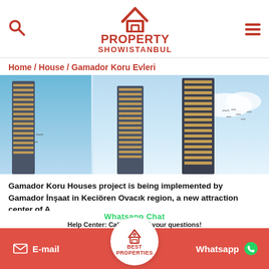[Figure (logo): Property Show Istanbul logo with house icon]
Home / House / Gamador Koru Evleri
[Figure (photo): Architectural rendering of tall residential towers (Gamador Koru Evleri) against blue sky]
Gamador Koru Houses project is being implemented by Gamador İnşaat in Keciören Ovacık region, a new attraction center of A...
[Figure (logo): Best Properties circular logo badge]
E-mail
Whatsapp
Whatsapp Chat
Help Center: Call us for all your questions!